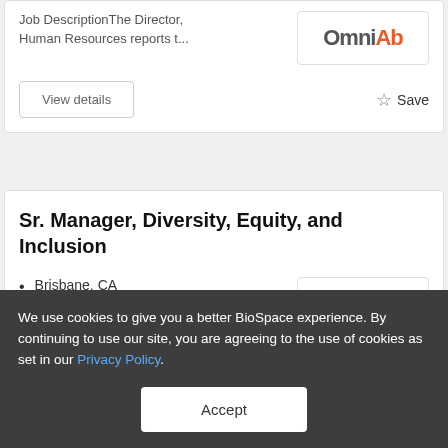Job DescriptionThe Director, Human Resources reports t...
View details
Save
Sr. Manager, Diversity, Equity, and Inclusion
Brisbane, CA
Sangamo Therapeutics,
We use cookies to give you a better BioSpace experience. By continuing to use our site, you are agreeing to the use of cookies as set in our Privacy Policy.
Accept